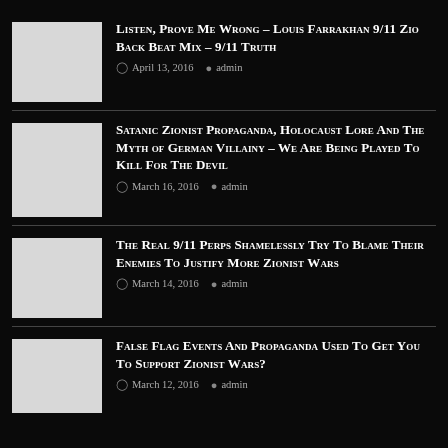Listen, Prove Me Wrong – Louis Farrakhan 9/11 Zio Back Beat Mix – 9/11 Truth
April 13, 2016   admin
Satanic Zionist Propaganda, Holocaust Lore And The Myth of German Villainy – We Are Being Played To Kill For The Devil
March 16, 2016   admin
The Real 9/11 Perps Shamelessly Try To Blame Their Enemies To Justify More Zionist Wars
March 14, 2016   admin
False Flag Events And Propaganda Used To Get You To Support Zionist Wars?
March 12, 2016   admin